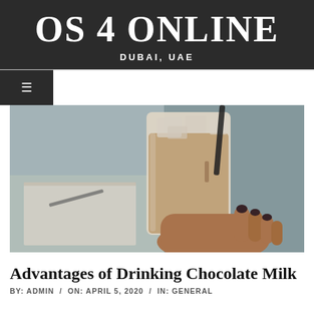OS 4 ONLINE
DUBAI, UAE
[Figure (photo): A hand holding a glass of iced chocolate milk with a straw, with a blurred notebook and pen in the background]
Advantages of Drinking Chocolate Milk
BY: ADMIN / ON: APRIL 5, 2020 / IN: GENERAL